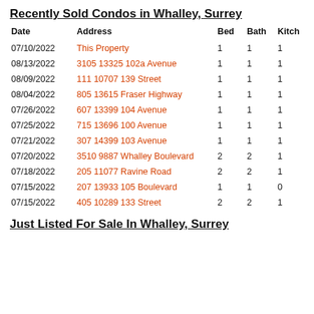Recently Sold Condos in Whalley, Surrey
| Date | Address | Bed | Bath | Kitch |
| --- | --- | --- | --- | --- |
| 07/10/2022 | This Property | 1 | 1 | 1 |
| 08/13/2022 | 3105 13325 102a Avenue | 1 | 1 | 1 |
| 08/09/2022 | 111 10707 139 Street | 1 | 1 | 1 |
| 08/04/2022 | 805 13615 Fraser Highway | 1 | 1 | 1 |
| 07/26/2022 | 607 13399 104 Avenue | 1 | 1 | 1 |
| 07/25/2022 | 715 13696 100 Avenue | 1 | 1 | 1 |
| 07/21/2022 | 307 14399 103 Avenue | 1 | 1 | 1 |
| 07/20/2022 | 3510 9887 Whalley Boulevard | 2 | 2 | 1 |
| 07/18/2022 | 205 11077 Ravine Road | 2 | 2 | 1 |
| 07/15/2022 | 207 13933 105 Boulevard | 1 | 1 | 0 |
| 07/15/2022 | 405 10289 133 Street | 2 | 2 | 1 |
Just Listed For Sale In Whalley, Surrey